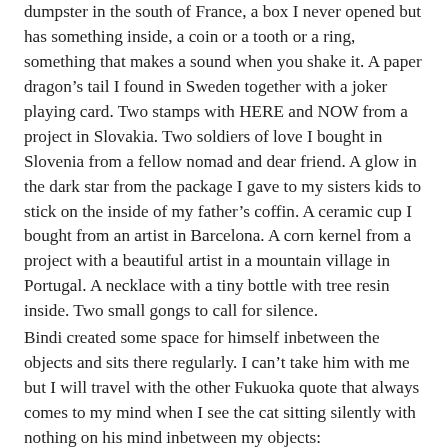dumpster in the south of France, a box I never opened but has something inside, a coin or a tooth or a ring, something that makes a sound when you shake it. A paper dragon's tail I found in Sweden together with a joker playing card. Two stamps with HERE and NOW from a project in Slovakia. Two soldiers of love I bought in Slovenia from a fellow nomad and dear friend. A glow in the dark star from the package I gave to my sisters kids to stick on the inside of my father's coffin. A ceramic cup I bought from an artist in Barcelona. A corn kernel from a project with a beautiful artist in a mountain village in Portugal. A necklace with a tiny bottle with tree resin inside. Two small gongs to call for silence.
Bindi created some space for himself inbetween the objects and sits there regularly. I can't take him with me but I will travel with the other Fukuoka quote that always comes to my mind when I see the cat sitting silently with nothing on his mind inbetween my objects:
“I do not particularly like the word 'work'. Human beings are the only animals who have to work, and I think that is the most ridiculous thing in the world. Other animals make their livings by living, but people work like crazy, thinking that they have to in